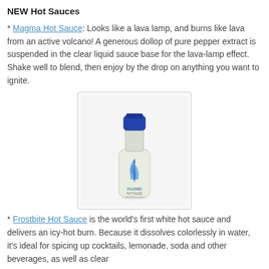NEW Hot Sauces
* Magma Hot Sauce: Looks like a lava lamp, and burns like lava from an active volcano! A generous dollop of pure pepper extract is suspended in the clear liquid sauce base for the lava-lamp effect. Shake well to blend, then enjoy by the drop on anything you want to ignite.
[Figure (photo): A bottle of Frostbite Hot Sauce with a blue cap and blue flame design on a white/pale green bottle body, displayed against a light background inside a bordered box.]
* Frostbite Hot Sauce is the world's first white hot sauce and delivers an icy-hot burn. Because it dissolves colorlessly in water, it's ideal for spicing up cocktails, lemonade, soda and other beverages, as well as clear...